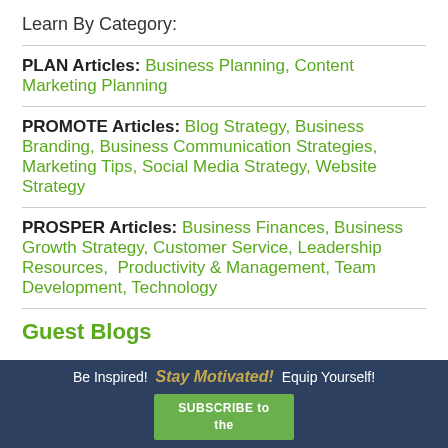Learn By Category:
PLAN Articles: Business Planning, Content Marketing Planning
PROMOTE Articles: Blog Strategy, Business Branding, Business Communication Strategies, Marketing Tips, Social Media Strategy, Website Strategy
PROSPER Articles: Business Finances, Business Growth Strategy, Customer Service, Leadership Resources, Productivity & Management, Team Development, Technology
Guest Blogs
Be Inspired! Stay Motivated! Equip Yourself! SUBSCRIBE to the